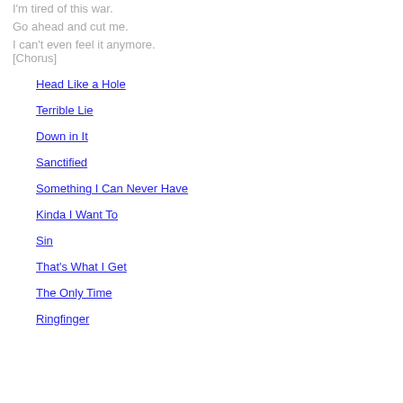I'm tired of this war.
Go ahead and cut me.
I can't even feel it anymore.
[Chorus]
Head Like a Hole
Terrible Lie
Down in It
Sanctified
Something I Can Never Have
Kinda I Want To
Sin
That's What I Get
The Only Time
Ringfinger